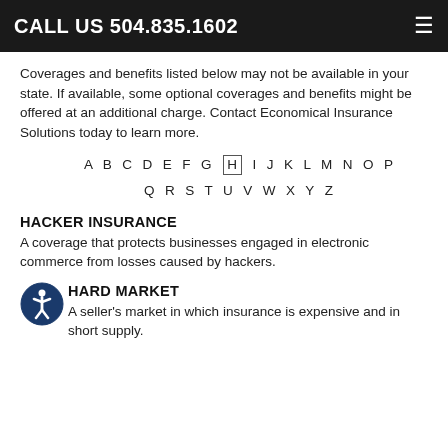CALL US 504.835.1602
Coverages and benefits listed below may not be available in your state. If available, some optional coverages and benefits might be offered at an additional charge. Contact Economical Insurance Solutions today to learn more.
A B C D E F G H I J K L M N O P Q R S T U V W X Y Z
HACKER INSURANCE
A coverage that protects businesses engaged in electronic commerce from losses caused by hackers.
HARD MARKET
A seller's market in which insurance is expensive and in short supply.